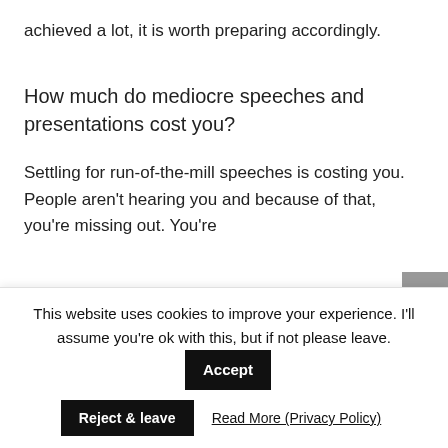achieved a lot, it is worth preparing accordingly.
How much do mediocre speeches and presentations cost you?
Settling for run-of-the-mill speeches is costing you. People aren't hearing you and because of that, you're missing out. You're
This website uses cookies to improve your experience. I'll assume you're ok with this, but if not please leave.
Reject & leave
Read More (Privacy Policy)
Accept